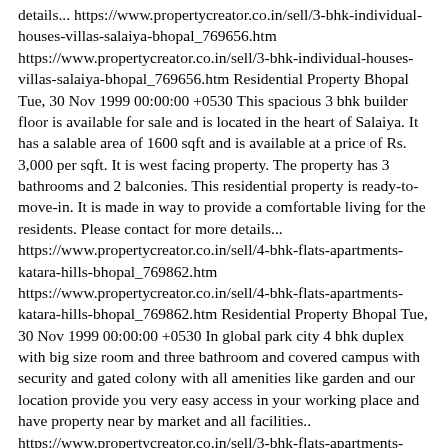details... https://www.propertycreator.co.in/sell/3-bhk-individual-houses-villas-salaiya-bhopal_769656.htm https://www.propertycreator.co.in/sell/3-bhk-individual-houses-villas-salaiya-bhopal_769656.htm Residential Property Bhopal Tue, 30 Nov 1999 00:00:00 +0530 This spacious 3 bhk builder floor is available for sale and is located in the heart of Salaiya. It has a salable area of 1600 sqft and is available at a price of Rs. 3,000 per sqft. It is west facing property. The property has 3 bathrooms and 2 balconies. This residential property is ready-to-move-in. It is made in way to provide a comfortable living for the residents. Please contact for more details... https://www.propertycreator.co.in/sell/4-bhk-flats-apartments-katara-hills-bhopal_769862.htm https://www.propertycreator.co.in/sell/4-bhk-flats-apartments-katara-hills-bhopal_769862.htm Residential Property Bhopal Tue, 30 Nov 1999 00:00:00 +0530 In global park city 4 bhk duplex with big size room and three bathroom and covered campus with security and gated colony with all amenities like garden and our location provide you very easy access in your working place and have property near by market and all facilities.. https://www.propertycreator.co.in/sell/3-bhk-flats-apartments-awadhpuri-bhopal_769863.htm https://www.propertycreator.co.in/sell/3-bhk-flats-apartments-awadhpuri-bhopal_769863.htm Residential Property Bhopal Tue, 30 Nov 1999 00:00:00 +0530 3 bhk apartment in awadhpuri well